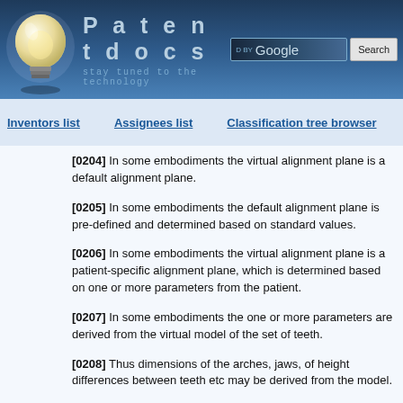[Figure (screenshot): Patentdocs website header with lightbulb logo, site title 'Patentdocs', subtitle 'stay tuned to the technology', Google search box and Search button]
Inventors list   Assignees list   Classification tree browser
[0204] In some embodiments the virtual alignment plane is a default alignment plane.
[0205] In some embodiments the default alignment plane is pre-defined and determined based on standard values.
[0206] In some embodiments the virtual alignment plane is a patient-specific alignment plane, which is determined based on one or more parameters from the patient.
[0207] In some embodiments the one or more parameters are derived from the virtual model of the set of teeth.
[0208] Thus dimensions of the arches, jaws, of height differences between teeth etc may be derived from the model.
[0209] In some embodiments one or more of the